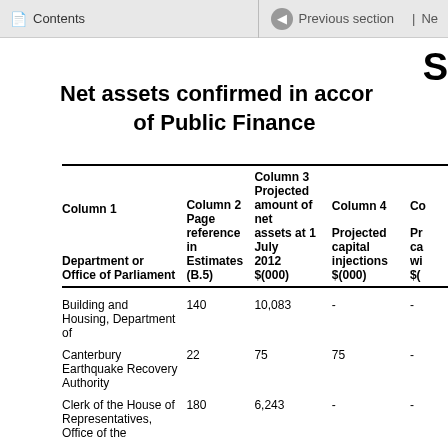Contents | Previous section | Ne
S
Net assets confirmed in accordance of Public Finance
| Column 1 Department or Office of Parliament | Column 2 Page reference in Estimates (B.5) | Column 3 Projected amount of net assets at 1 July 2012 $(000) | Column 4 Projected capital injections $(000) | Co Pr ca wi $( |
| --- | --- | --- | --- | --- |
| Building and Housing, Department of | 140 | 10,083 | - | - |
| Canterbury Earthquake Recovery Authority | 22 | 75 | 75 | - |
| Clerk of the House of Representatives, Office of the | 180 | 6,243 | - | - |
| Conservation, Department of | 40 | 567,469 | 47,320 | - |